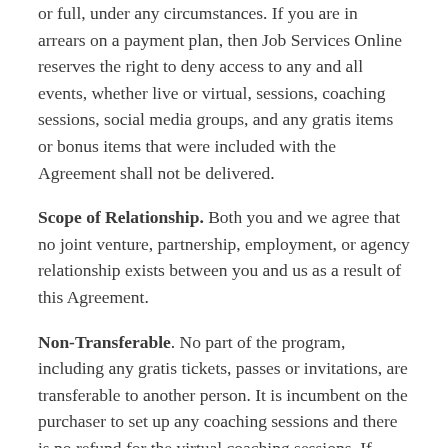or full, under any circumstances. If you are in arrears on a payment plan, then Job Services Online reserves the right to deny access to any and all events, whether live or virtual, sessions, coaching sessions, social media groups, and any gratis items or bonus items that were included with the Agreement shall not be delivered.
Scope of Relationship. Both you and we agree that no joint venture, partnership, employment, or agency relationship exists between you and us as a result of this Agreement.
Non-Transferable. No part of the program, including any gratis tickets, passes or invitations, are transferable to another person. It is incumbent on the purchaser to set up any coaching sessions and there is no refund for the virtual coaching sessions. If